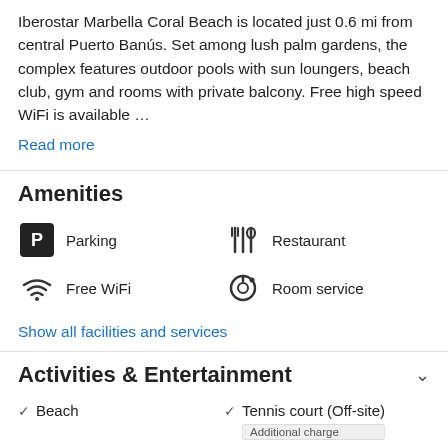Iberostar Marbella Coral Beach is located just 0.6 mi from central Puerto Banús. Set among lush palm gardens, the complex features outdoor pools with sun loungers, beach club, gym and rooms with private balcony. Free high speed WiFi is available …
Read more
Amenities
Parking
Restaurant
Free WiFi
Room service
Show all facilities and services
Activities & Entertainment
Beach
Tennis court (Off-site) Additional charge
Fitness center
Golf course (within 2 miles)